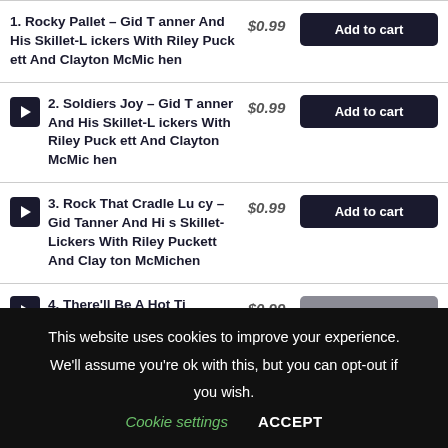1. Rocky Pallet – Gid Tanner And His Skillet-Lickers With Riley Puckett And Clayton McMichen
2. Soldiers Joy – Gid Tanner And His Skillet-Lickers With Riley Puckett And Clayton McMichen
3. Rock That Cradle Lucy – Gid Tanner And His Skillet-Lickers With Riley Puckett And Clayton McMichen
4. There'll Be A Hot Ti...
This website uses cookies to improve your experience. We'll assume you're ok with this, but you can opt-out if you wish. Cookie settings ACCEPT